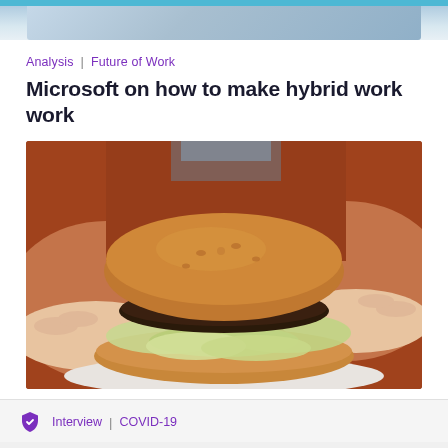[Figure (photo): Partial top image strip showing a building/office scene, cropped at the top of the page]
Analysis | Future of Work
Microsoft on how to make hybrid work work
[Figure (photo): Close-up photo of hands holding a large burger with a toasted brioche bun, dark beef patty, and lettuce overflowing from the sides, on a white plate]
Interview | COVID-19